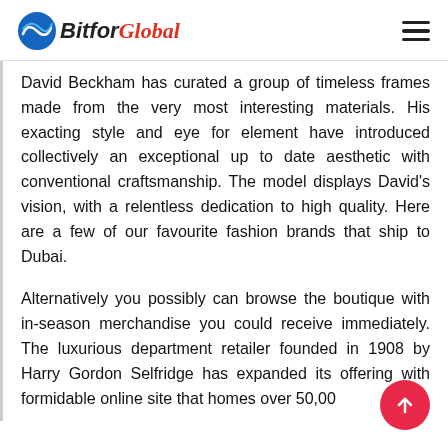BitforGlobal
David Beckham has curated a group of timeless frames made from the very most interesting materials. His exacting style and eye for element have introduced collectively an exceptional up to date aesthetic with conventional craftsmanship. The model displays David's vision, with a relentless dedication to high quality. Here are a few of our favourite fashion brands that ship to Dubai.
Alternatively you possibly can browse the boutique with in-season merchandise you could receive immediately. The luxurious department retailer founded in 1908 by Harry Gordon Selfridge has expanded its offering with formidable online site that homes over 50,0...